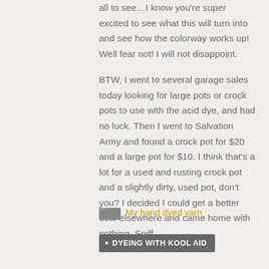all to see…I know you're super excited to see what this will turn into and see how the colorway works up! Well fear not! I will not disappoint.
BTW, I went to several garage sales today looking for large pots or crock pots to use with the acid dye, and had no luck. Then I went to Salvation Army and found a crock pot for $20 and a large pot for $10. I think that's a lot for a used and rusting crock pot and a slightly dirty, used pot, don't you? I decided I could get a better deal elsewhere and came home with nothing. Sniff.
My hand dyed yarn
DYEING WITH KOOL AID